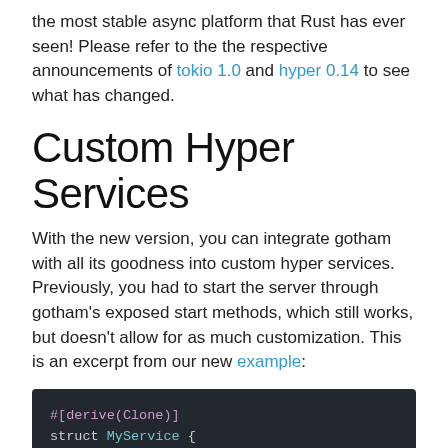the most stable async platform that Rust has ever seen! Please refer to the the respective announcements of tokio 1.0 and hyper 0.14 to see what has changed.
Custom Hyper Services
With the new version, you can integrate gotham with all its goodness into custom hyper services. Previously, you had to start the server through gotham's exposed start methods, which still works, but doesn't allow for as much customization. This is an excerpt from our new example:
[Figure (screenshot): Code block showing Rust code: #[derive(Clone)] struct MyService { router: Router, addr: SocketAddr, } impl Service<Request<Body>> for MyService { type Response = Response<Body>;]